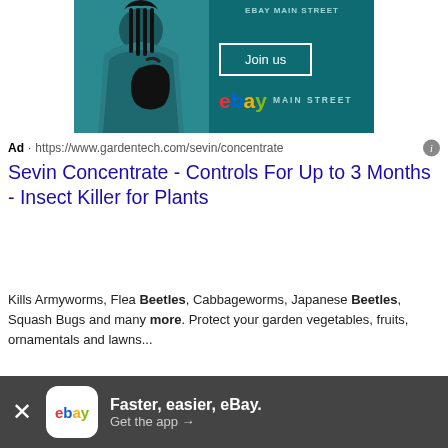[Figure (screenshot): eBay Main Street advertisement banner showing a person with a bag on teal background with 'Join us' button and eBay Main Street logo]
Ad · https://www.gardentech.com/sevin/concentrate
Sevin Concentrate - Controls For Up to 3 Months - Insect Killer for Plants
Kills Armyworms, Flea Beetles, Cabbageworms, Japanese Beetles, Squash Bugs and many more. Protect your garden vegetables, fruits, ornamentals and lawns...
Sevin Concentrate
Sevin Ready-to-Spray
Sevin Lawn Granules
Sevin 5% Dust
[Figure (screenshot): eBay app promotion bottom bar: 'Faster, easier, eBay. Get the app →' with eBay logo icon and close (X) button]